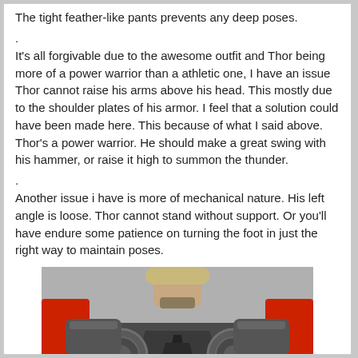The tight feather-like pants prevents any deep poses.
.
It's all forgivable due to the awesome outfit and Thor being more of a power warrior than a athletic one, I have an issue Thor cannot raise his arms above his head. This mostly due to the shoulder plates of his armor. I feel that a solution could have been made here. This because of what I said above. Thor's a power warrior. He should make a great swing with his hammer, or raise it high to summon the thunder.
.
Another issue i have is more of mechanical nature. His left angle is loose. Thor cannot stand without support. Or you'll have endure some patience on turning the foot in just the right way to maintain poses.
[Figure (photo): Close-up photo of a Thor action figure showing the chest armor detail with silver/grey armored chest plates, circular disc details on the shoulders, red cape visible at the shoulders, and the neck/chin area of the figure visible at the top.]